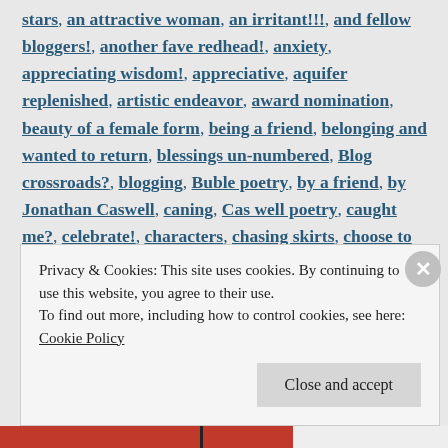stars, an attractive woman, an irritant!!!, and fellow bloggers!, another fave redhead!, anxiety, appreciating wisdom!, appreciative, aquifer replenished, artistic endeavor, award nomination, beauty of a female form, being a friend, belonging and wanted to return, blessings un-numbered, Blog crossroads?, blogging, Buble poetry, by a friend, by Jonathan Caswell, caning, Cas well poetry, caught me?, celebrate!, characters, chasing skirts, choose to rejoice, choosing reconciliation, Christian love poem, cofession of a man, COMMENTARY, community, compassion for mental issues, CONNECTING, conquering mental inertia, constant reminders of her presence, coping strategy, copying a picture, creative,
Privacy & Cookies: This site uses cookies. By continuing to use this website, you agree to their use.
To find out more, including how to control cookies, see here: Cookie Policy